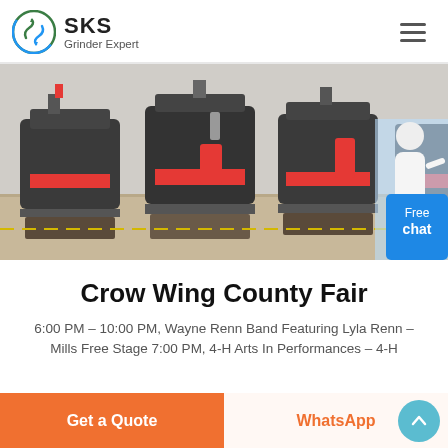SKS Grinder Expert
[Figure (photo): Industrial cone crushers/grinding machines lined up in a factory warehouse setting. Large black machines with red components arranged in a row.]
Crow Wing County Fair
6:00 PM – 10:00 PM, Wayne Renn Band Featuring Lyla Renn – Mills Free Stage 7:00 PM, 4-H Arts In Performances – 4-H
Get a Quote | WhatsApp